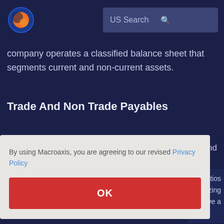[Figure (logo): Macroaxis orange and blue globe logo in top-left corner]
US Search
company operates a classified balance sheet that segments current and non-current assets.
Trade And Non Trade Payables
nd
By using Macroaxis, you are agreeing to our revised Privacy Policy
OK
atios
alyzing
ive a
matrix of fundamental ratios indicators, and analyzing